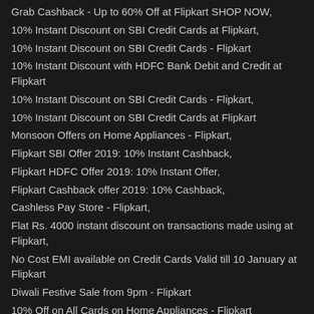Grab Cashback - Up to 60% Off at Flipkart SHOP NOW,
10% Instant Discount on SBI Credit Cards at Flipkart,
10% Instant Discount on SBI Credit Cards - Flipkart
10% Instant Discount with HDFC Bank Debit and Credit at Flipkart
10% Instant Discount on SBI Credit Cards - Flipkart,
10% Instant Discount on SBI Credit Cards at Flipkart
Monsoon Offers on Home Appliances - Flipkart,
Flipkart SBI Offer 2019: 10% Instant Cashback,
Flipkart HDFC Offer 2019: 10% Instant Offer,
Flipkart Cashback offer 2019: 10% Cashback,
Cashless Pay Store - Flipkart,
Flat Rs. 4000 instant discount on transactions made using at Flipkart,
No Cost EMI available on Credit Cards Valid till 10 January at Flipkart
Diwali Festive Sale from 9pm - Flipkart
10% Off on All Cards on Home Appliances - Flipkart
10% Off on Cooling Days at Flipkart on SBI Credit Cards | SBI Card
flipkart samsung carnival,
flipkart mobiles,
TV & appliances Sale (Axis Bank Offer) at Flipkart,